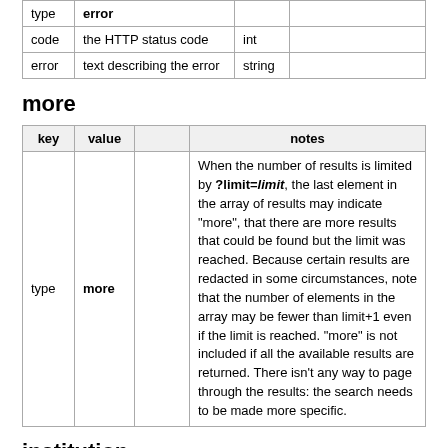| key | value |  | notes |
| --- | --- | --- | --- |
| type | error |  |  |
| code | the HTTP status code | int |  |
| error | text describing the error | string |  |
more
| key | value |  | notes |
| --- | --- | --- | --- |
| type | more |  | When the number of results is limited by ?limit=limit, the last element in the array of results may indicate "more", that there are more results that could be found but the limit was reached. Because certain results are redacted in some circumstances, note that the number of elements in the array may be fewer than limit+1 even if the limit is reached. "more" is not included if all the available results are returned. There isn't any way to page through the results: the search needs to be made more specific. |
institution
| key | value |  | notes |
| --- | --- | --- | --- |